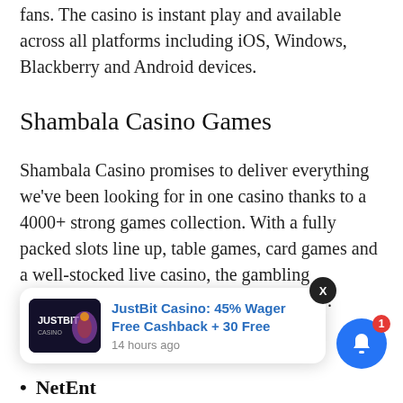fans. The casino is instant play and available across all platforms including iOS, Windows, Blackberry and Android devices.
Shambala Casino Games
Shambala Casino promises to deliver everything we've been looking for in one casino thanks to a 4000+ strong games collection. With a fully packed slots line up, table games, card games and a well-stocked live casino, the gambling entertainment will never be in short supply.
Shambala Casino features the following
[Figure (screenshot): Notification popup for JustBit Casino: '45% Wager Free Cashback + 30 Free' with timestamp '14 hours ago', close X button, and a bell notification icon with badge showing 1]
NetEnt